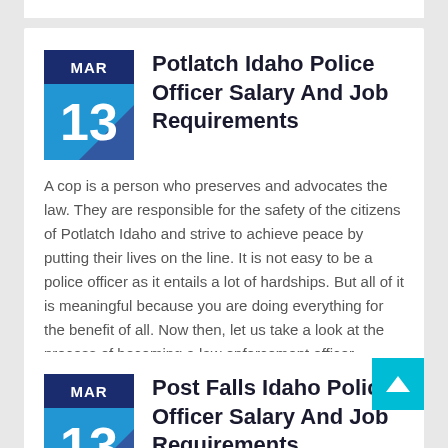Potlatch Idaho Police Officer Salary And Job Requirements
A cop is a person who preserves and advocates the law. They are responsible for the safety of the citizens of Potlatch Idaho and strive to achieve peace by putting their lives on the line. It is not easy to be a police officer as it entails a lot of hardships. But all of it is meaningful because you are doing everything for the benefit of all. Now then, let us take a look at the process of becoming a law enforcement officer.
Post Falls Idaho Police Officer Salary And Job Requirements